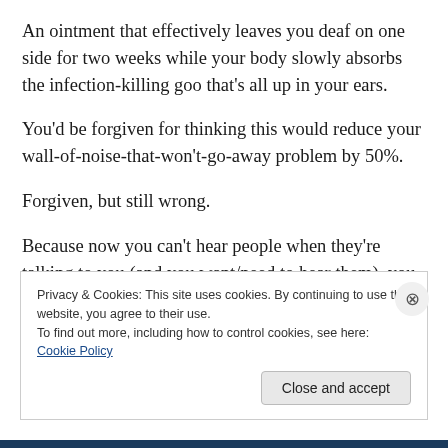An ointment that effectively leaves you deaf on one side for two weeks while your body slowly absorbs the infection-killing goo that’s all up in your ears.
You’d be forgiven for thinking this would reduce your wall-of-noise-that-won’t-go-away problem by 50%.
Forgiven, but still wrong.
Because now you can’t hear people when they’re talking to you (and you want/need to hear them), you can still hear the unwanted noise through the other ear, you can no
Privacy & Cookies: This site uses cookies. By continuing to use this website, you agree to their use.
To find out more, including how to control cookies, see here: Cookie Policy